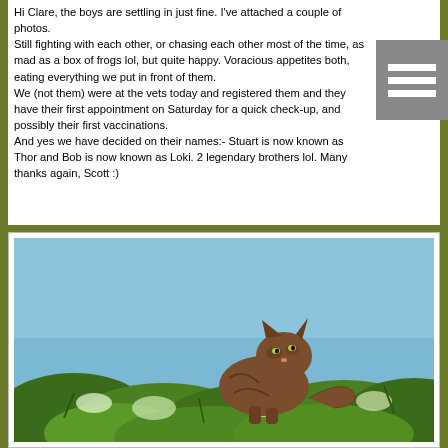Hi Clare, the boys are settling in just fine. I've attached a couple of photos.
Still fighting with each other, or chasing each other most of the time, as mad as a box of frogs lol, but quite happy. Voracious appetites both, eating everything we put in front of them.
We (not them) were at the vets today and registered them and they have their first appointment on Saturday for a quick check-up, and possibly their first vaccinations.
And yes we have decided on their names:- Stuart is now known as Thor and Bob is now known as Loki. 2 legendary brothers lol. Many thanks again, Scott :)
[Figure (photo): A tabby cat perched on top of a green bush/hedge against a blue sky background, viewed from slightly below]